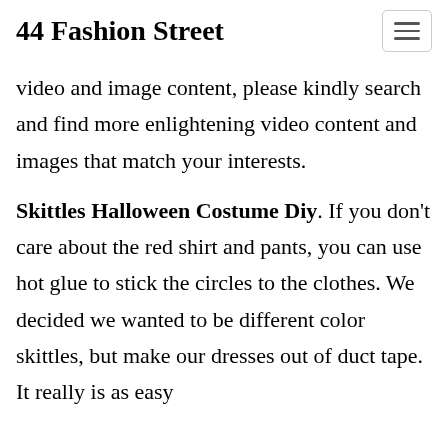44 Fashion Street
video and image content, please kindly search and find more enlightening video content and images that match your interests.
Skittles Halloween Costume Diy. If you don't care about the red shirt and pants, you can use hot glue to stick the circles to the clothes. We decided we wanted to be different color skittles, but make our dresses out of duct tape. It really is as easy